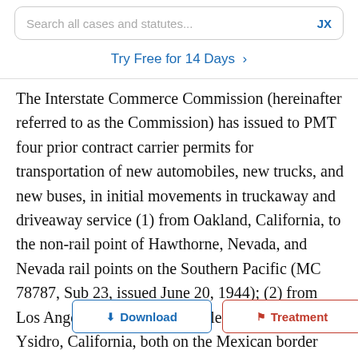Search all cases and statutes...   JX
Try Free for 14 Days >
The Interstate Commerce Commission (hereinafter referred to as the Commission) has issued to PMT four prior contract carrier permits for transportation of new automobiles, new trucks, and new buses, in initial movements in truckaway and driveaway service (1) from Oakland, California, to the non-rail point of Hawthorne, Nevada, and Nevada rail points on the Southern Pacific (MC 78787, Sub 23, issued June 20, 1944); (2) from Los Angeles, California, to Calexico and San Ysidro, California, both on the Mexican border (MC 78787, Sub 27, issued April 21, 1950); (3) from Raymer, California, to points in [Download] ar[Treatment] Zone, for transshipment by water (MC 78787, Sub 30, issued June 22, 1950); and (4) from Oakland, California, to Carson